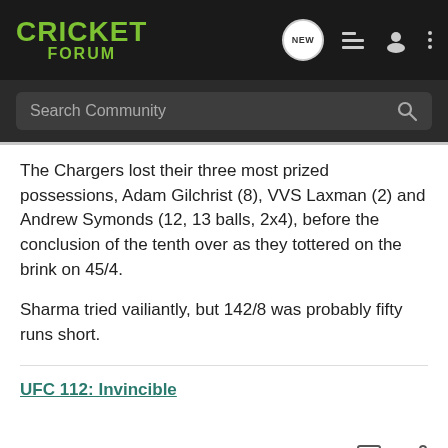CRICKET FORUM
The Chargers lost their three most prized possessions, Adam Gilchrist (8), VVS Laxman (2) and Andrew Symonds (12, 13 balls, 2x4), before the conclusion of the tenth over as they tottered on the brink on 45/4.
Sharma tried vailiantly, but 142/8 was probably fifty runs short.
UFC 112: Invincible
1 - 1 of 1 Posts